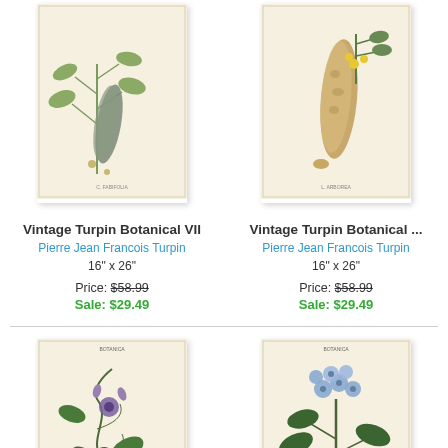[Figure (illustration): Vintage botanical illustration VII showing plant with leaves, seed pods, and seeds on aged paper background]
Vintage Turpin Botanical VII
Pierre Jean Francois Turpin
16" x 26"
Price: $58.99 Sale: $29.49
[Figure (illustration): Vintage botanical illustration showing seed pods, yellow flowers, and leaves on aged paper background]
Vintage Turpin Botanical ...
Pierre Jean Francois Turpin
16" x 26"
Price: $58.99 Sale: $29.49
[Figure (illustration): Vintage botanical illustration showing climbing vine with purple flower and large heart-shaped leaves on aged paper]
[Figure (illustration): Vintage botanical illustration showing blue flowering plant with leaves on aged paper background]